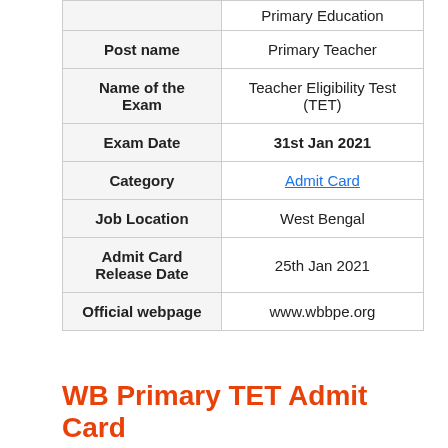| Field | Value |
| --- | --- |
|  | Primary Education |
| Post name | Primary Teacher |
| Name of the Exam | Teacher Eligibility Test (TET) |
| Exam Date | 31st Jan 2021 |
| Category | Admit Card |
| Job Location | West Bengal |
| Admit Card Release Date | 25th Jan 2021 |
| Official webpage | www.wbbpe.org |
WB Primary TET Admit Card